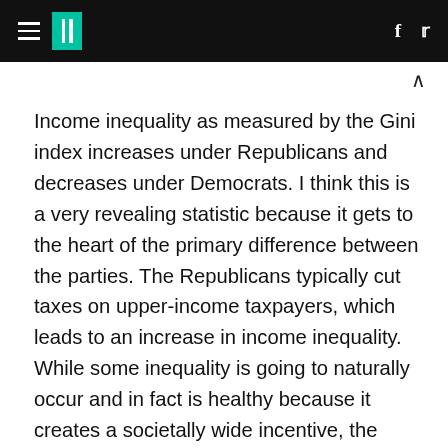HuffPost navigation header with hamburger menu, logo, Facebook and Twitter icons
Income inequality as measured by the Gini index increases under Republicans and decreases under Democrats. I think this is a very revealing statistic because it gets to the heart of the primary difference between the parties. The Republicans typically cut taxes on upper-income taxpayers, which leads to an increase in income inequality. While some inequality is going to naturally occur and in fact is healthy because it creates a societally wide incentive, the question of how much is an important policy debate well worth having. Now -- because Republicans cut